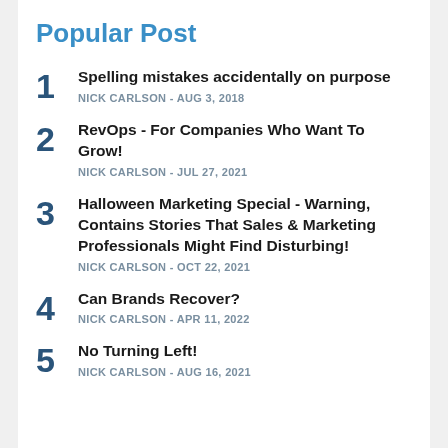Popular Post
Spelling mistakes accidentally on purpose
NICK CARLSON - AUG 3, 2018
RevOps - For Companies Who Want To Grow!
NICK CARLSON - JUL 27, 2021
Halloween Marketing Special - Warning, Contains Stories That Sales & Marketing Professionals Might Find Disturbing!
NICK CARLSON - OCT 22, 2021
Can Brands Recover?
NICK CARLSON - APR 11, 2022
No Turning Left!
NICK CARLSON - AUG 16, 2021